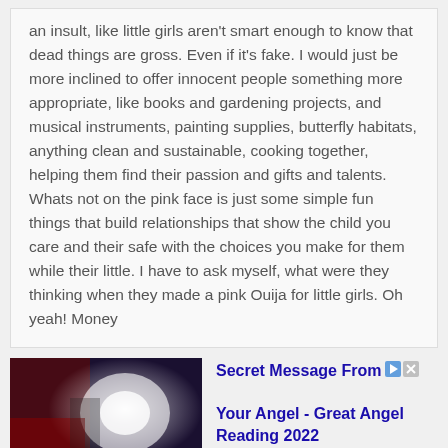an insult, like little girls aren't smart enough to know that dead things are gross. Even if it's fake. I would just be more inclined to offer innocent people something more appropriate, like books and gardening projects, and musical instruments, painting supplies, butterfly habitats, anything clean and sustainable, cooking together, helping them find their passion and gifts and talents. Whats not on the pink face is just some simple fun things that build relationships that show the child you care and their safe with the choices you make for them while their little. I have to ask myself, what were they thinking when they made a pink Ouija for little girls. Oh yeah! Money
[Figure (photo): Advertisement image showing a bright light scene, possibly boxing or action scene with dramatic lighting]
Secret Message From Your Angel - Great Angel Reading 2022
Ad